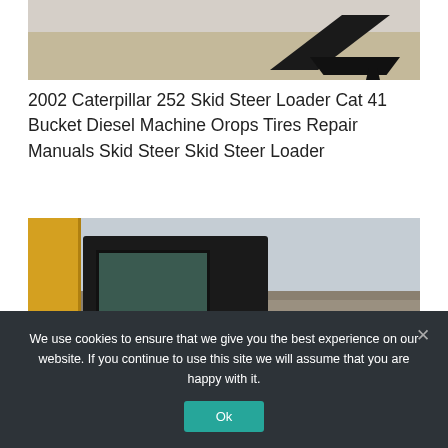[Figure (photo): Top portion of a Caterpillar skid steer loader bucket and arm photographed outdoors on gravel/dirt ground]
2002 Caterpillar 252 Skid Steer Loader Cat 41 Bucket Diesel Machine Orops Tires Repair Manuals Skid Steer Skid Steer Loader
[Figure (photo): Yellow Caterpillar (CAT) skid steer loader cab close-up, with black ROPS cage and tinted window, photographed at a work site with rubble in background]
We use cookies to ensure that we give you the best experience on our website. If you continue to use this site we will assume that you are happy with it.